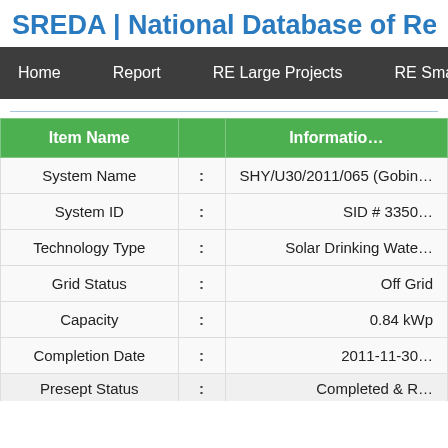SREDA | National Database of Ren...
| Item Name |  | Information |
| --- | --- | --- |
| System Name | : | SHY/U30/2011/065 (Gobin... |
| System ID | : | SID # 3350... |
| Technology Type | : | Solar Drinking Wate... |
| Grid Status | : | Off Grid |
| Capacity | : | 0.84 kWp |
| Completion Date | : | 2011-11-30... |
| Presept Status | : | Completed & R... |